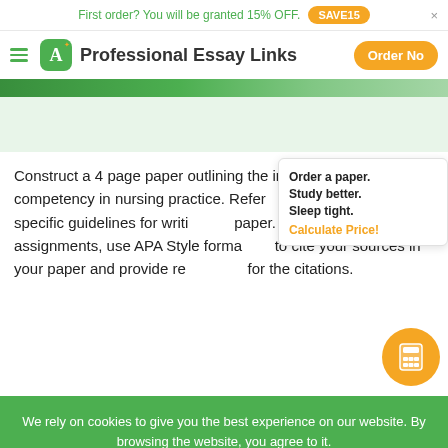First order? You will be granted 15% OFF.  SAVE15  ×
Professional Essay Links
[Figure (screenshot): Green decorative stripe and hero banner area]
Construct a 4 page paper outlining the integration of cultural competency in nursing practice. Refer to the provided rubric for specific guidelines for writing the paper. All writing assignments, use APA Style formatting to cite your sources in your paper and provide references for the citations.
Order a paper. Study better. Sleep tight. Calculate Price!
We rely on cookies to give you the best experience on our website. By browsing the website, you agree to it. Read more
I agree